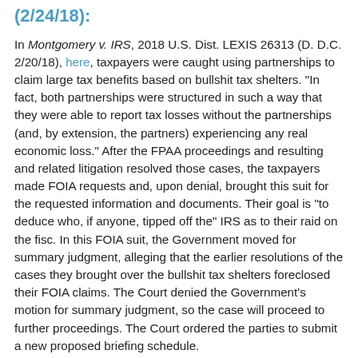(2/24/18):
In Montgomery v. IRS, 2018 U.S. Dist. LEXIS 26313 (D. D.C. 2/20/18), here, taxpayers were caught using partnerships to claim large tax benefits based on bullshit tax shelters. "In fact, both partnerships were structured in such a way that they were able to report tax losses without the partnerships (and, by extension, the partners) experiencing any real economic loss." After the FPAA proceedings and resulting and related litigation resolved those cases, the taxpayers made FOIA requests and, upon denial, brought this suit for the requested information and documents. Their goal is "to deduce who, if anyone, tipped off the" IRS as to their raid on the fisc. In this FOIA suit, the Government moved for summary judgment, alleging that the earlier resolutions of the cases they brought over the bullshit tax shelters foreclosed their FOIA claims. The Court denied the Government's motion for summary judgment, so the case will proceed to further proceedings. The Court ordered the parties to submit a new proposed briefing schedule.
Basically, the issue resolved by the Court was whether the